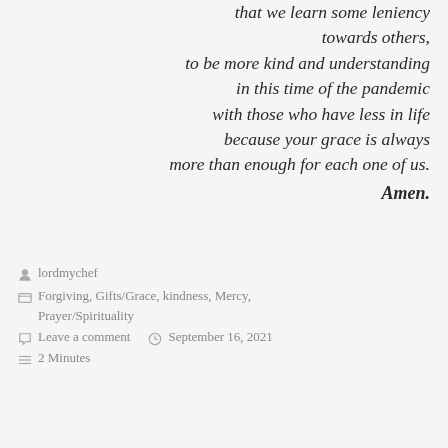that we learn some leniency towards others, to be more kind and understanding in this time of the pandemic with those who have less in life because your grace is always more than enough for each one of us. Amen.
lordmychef
Forgiving, Gifts/Grace, kindness, Mercy, Prayer/Spirituality
Leave a comment   September 16, 2021
2 Minutes